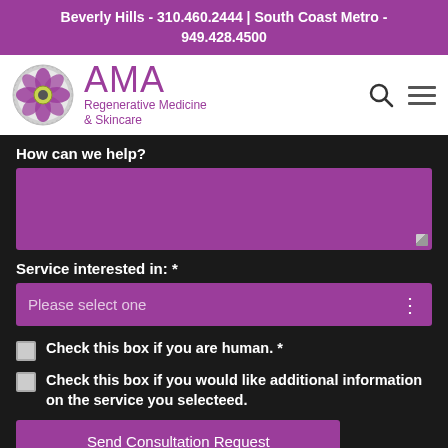Beverly Hills - 310.460.2444 | South Coast Metro - 949.428.4500
[Figure (logo): AMA Regenerative Medicine & Skincare logo with circular floral emblem and navigation icons]
How can we help?
Service interested in: *
Please select one
Check this box if you are human. *
Check this box if you would like additional information on the service you selecteed.
Send Consultation Request